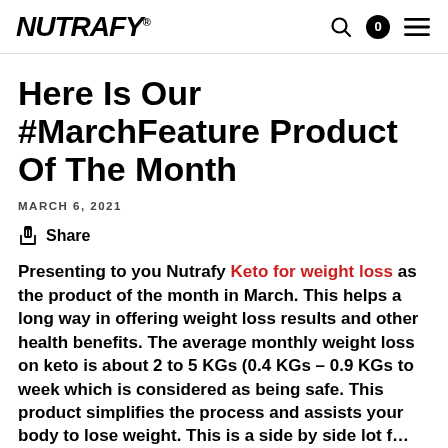NUTRAFY®
Here Is Our #MarchFeature Product Of The Month
MARCH 6, 2021
Share
Presenting to you Nutrafy Keto for weight loss as the product of the month in March. This helps a long way in offering weight loss results and other health benefits. The average monthly weight loss on keto is about 2 to 5 KGs (0.4 KGs – 0.9 KGs to week which is considered as being safe. This product simplifies the process and assists your body to lose weight. This is a side by side lot f…